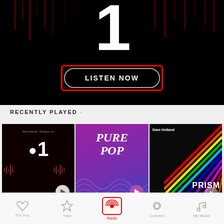[Figure (screenshot): Beats 1 radio hero banner on dark background with large '1' numeral, waveform lines, and a 'LISTEN NOW' button with red highlight border]
RECENTLY PLAYED >
[Figure (screenshot): Recently Played row with three album cards: Beats 1 (dark), Pure Pop (purple), and Prism by Dave Holland (rainbow/dark)]
[Figure (screenshot): Bottom navigation bar with heart, star, radio (active/highlighted in red), @, and music note icons]